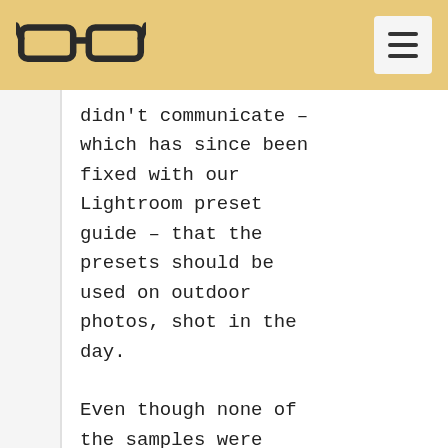[glasses logo] [hamburger menu]
didn't communicate – which has since been fixed with our Lightroom preset guide – that the presets should be used on outdoor photos, shot in the day.

Even though none of the samples were shot in that type of environment, Linda was still trying to use our presets in a